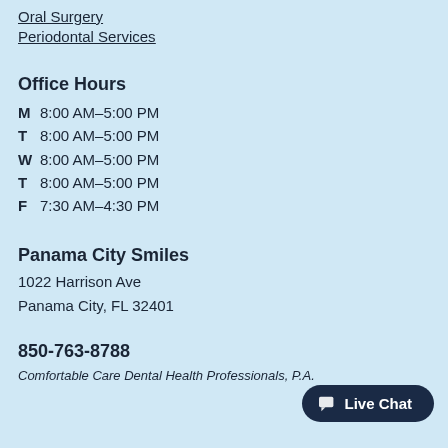Oral Surgery
Periodontal Services
Office Hours
M  8:00 AM–5:00 PM
T  8:00 AM–5:00 PM
W  8:00 AM–5:00 PM
T  8:00 AM–5:00 PM
F  7:30 AM–4:30 PM
Panama City Smiles
1022 Harrison Ave
Panama City, FL 32401
850-763-8788
Comfortable Care Dental Health Professionals, P.A.